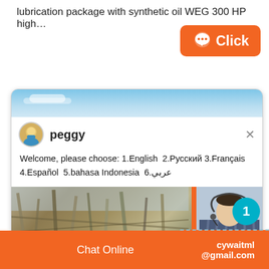lubrication package with synthetic oil WEG 300 HP high…
[Figure (screenshot): Orange rounded button with chat bubble icon and text 'Click']
[Figure (screenshot): Live chat popup window showing agent 'peggy' with welcome message in multiple languages: English, Русский, Français, Español, bahasa Indonesia, عربي. Below is an industrial machinery photo and a chat agent photo with teal notification badge showing '1', orange 'Click to chat' button, and 'Enquiry' button.]
Chat Online    cywaitml @gmail.com